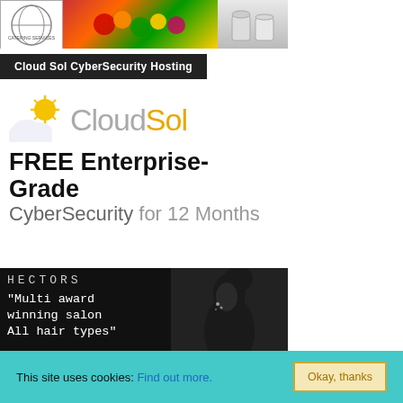[Figure (photo): Top banner showing catering services logo on left, colorful food/snacks in middle, drinks on right]
Cloud Sol CyberSecurity Hosting
[Figure (infographic): Cloud Sol advertisement: sun and cloud icon logo with text 'CloudSol FREE Enterprise-Grade CyberSecurity for 12 Months']
[Figure (photo): Hectors salon advertisement on black background with model silhouette. Text: HECTORS, 'Multi award winning salon All hair types', PRODUCTS: HAIR CARE; EXTENSIONS; ART UNDERWEAR; FRAGRANCES]
This site uses cookies: Find out more.  Okay, thanks